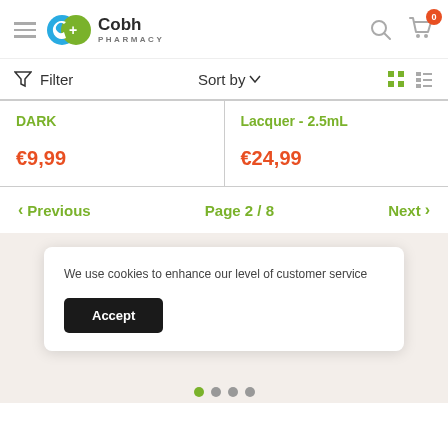[Figure (logo): Cobh Pharmacy logo with blue and green circular icon]
Filter
Sort by
DARK
€9,99
Lacquer - 2.5mL
€24,99
< Previous   Page 2 / 8   Next >
We use cookies to enhance our level of customer service
Accept